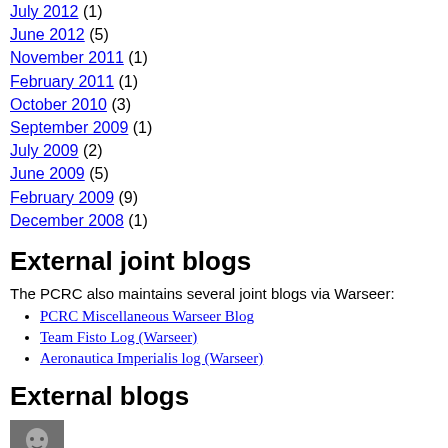July 2012 (1)
June 2012 (5)
November 2011 (1)
February 2011 (1)
October 2010 (3)
September 2009 (1)
July 2009 (2)
June 2009 (5)
February 2009 (9)
December 2008 (1)
External joint blogs
The PCRC also maintains several joint blogs via Warseer:
PCRC Miscellaneous Warseer Blog
Team Fisto Log (Warseer)
Aeronautica Imperialis log (Warseer)
External blogs
[Figure (photo): Small grayscale portrait photo of a person]